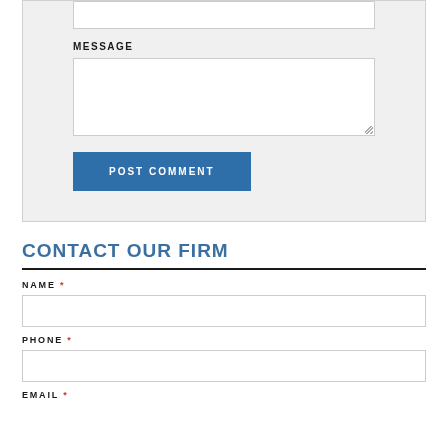MESSAGE
[Figure (other): Message textarea input box]
[Figure (other): POST COMMENT button]
CONTACT OUR FIRM
NAME *
[Figure (other): Name text input field]
PHONE *
[Figure (other): Phone text input field]
EMAIL *